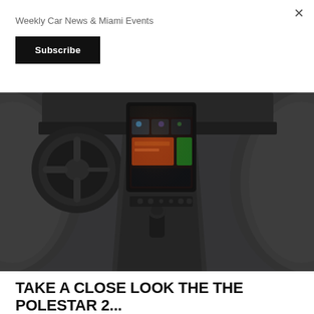Weekly Car News & Miami Events
Subscribe
[Figure (photo): Interior view of a Polestar 2 car showing the center console with a touchscreen infotainment display, steering wheel on the left, and dark upholstered seats on either side.]
TAKE A CLOSE LOOK THE THE POLESTAR 2...